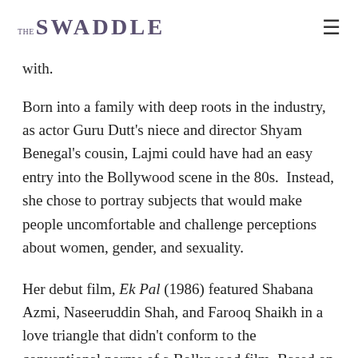THE SWADDLE
with.
Born into a family with deep roots in the industry, as actor Guru Dutt's niece and director Shyam Benegal's cousin, Lajmi could have had an easy entry into the Bollywood scene in the 80s.  Instead, she chose to portray subjects that would make people uncomfortable and challenge perceptions about women, gender, and sexuality.
Her debut film, Ek Pal (1986) featured Shabana Azmi, Naseeruddin Shah, and Farooq Shaikh in a love triangle that didn't conform to the conventional norms of a Bollywood film. Based on a short story by